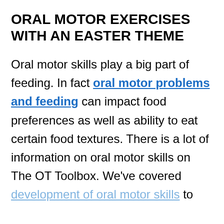ORAL MOTOR EXERCISES WITH AN EASTER THEME
Oral motor skills play a big part of feeding. In fact oral motor problems and feeding can impact food preferences as well as ability to eat certain food textures. There is a lot of information on oral motor skills on The OT Toolbox. We've covered development of oral motor skills to